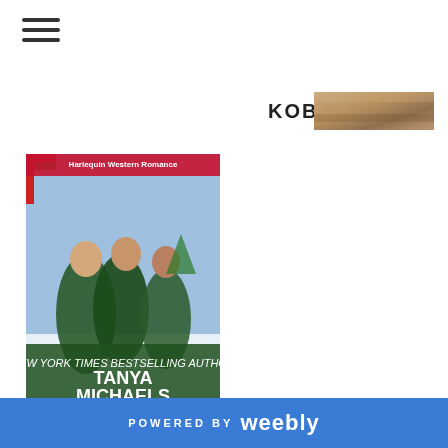[Figure (other): Hamburger menu icon (three horizontal lines)]
KOBO
[Figure (photo): KOBO banner image - warm brown tones, appears to be a close-up texture photo]
[Figure (illustration): Book cover: 'The Christmas Triplets' by Tanya Michaels, Harlequin Western Romance, showing three girls near a Christmas tree]
AMAZON
[Figure (logo): Add to Goodreads button with tan/beige background and brown goodreads text]
[Figure (photo): Author photo - outdoor scene with trees and building]
Tanya Michaels is an award-winning author of more than
POWERED BY weebly